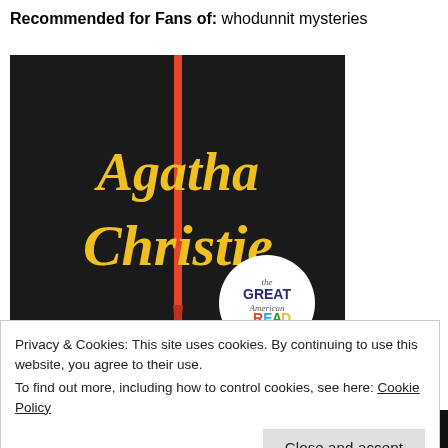Recommended for Fans of: whodunnit mysteries
[Figure (illustration): Book cover with dark background featuring 'Agatha Christie' written in yellow cursive script with a red vertical stripe/dagger, and a circular 'The Great American Read' badge in the lower right corner.]
Privacy & Cookies: This site uses cookies. By continuing to use this website, you agree to their use.
To find out more, including how to control cookies, see here: Cookie Policy
Close and accept
THERE